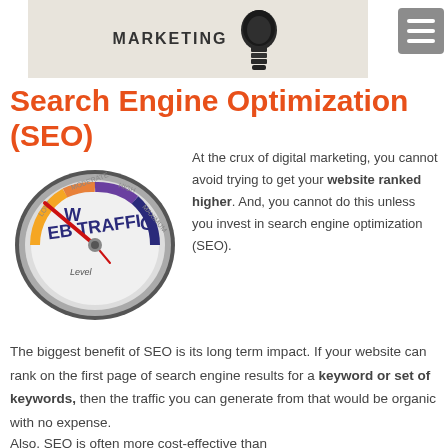[Figure (illustration): Marketing banner with a lightbulb illustration and the word MARKETING in bold letters on a beige/tan background]
Search Engine Optimization (SEO)
[Figure (illustration): A speedometer/gauge style dial labeled WEB TRAFFIC with a red pointer needle pointing to a high level, showing zones from low to maximum]
At the crux of digital marketing, you cannot avoid trying to get your website ranked higher. And, you cannot do this unless you invest in search engine optimization (SEO).
The biggest benefit of SEO is its long term impact. If your website can rank on the first page of search engine results for a keyword or set of keywords, then the traffic you can generate from that would be organic with no expense.